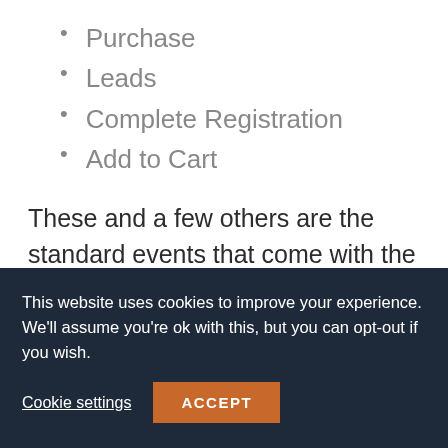Purchase
Leads
Complete Registration
Add to Cart
These and a few others are the standard events that come with the Facebook Pixel, so you can easily track all of those events.
But sometimes you will want to track different events that are specific to your business model. Perhaps you have
This website uses cookies to improve your experience. We'll assume you're ok with this, but you can opt-out if you wish.
Cookie settings
ACCEPT